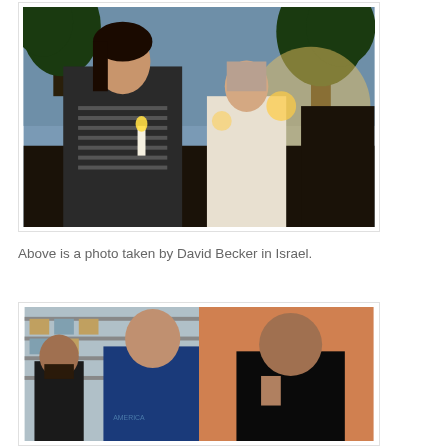[Figure (photo): Candlelight vigil photo: a young woman in a striped sleeveless top holds a candle at dusk, with palm trees and a young girl in the background, taken by David Becker in Israel.]
Above is a photo taken by David Becker in Israel.
[Figure (photo): Two men in a warehouse/store setting; the man on the left wears a dark blue hoodie and one on the right wears a black shirt. Shelving with boxes visible in the background.]